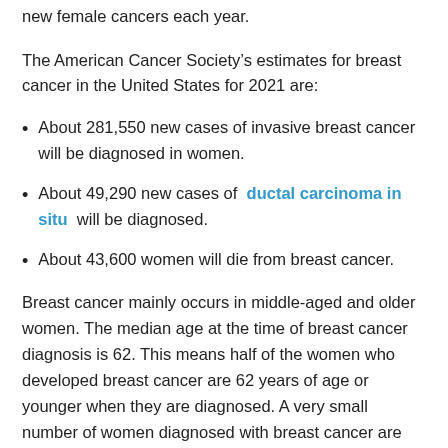new female cancers each year.
The American Cancer Society's estimates for breast cancer in the United States for 2021 are:
About 281,550 new cases of invasive breast cancer will be diagnosed in women.
About 49,290 new cases of ductal carcinoma in situ will be diagnosed.
About 43,600 women will die from breast cancer.
Breast cancer mainly occurs in middle-aged and older women. The median age at the time of breast cancer diagnosis is 62. This means half of the women who developed breast cancer are 62 years of age or younger when they are diagnosed. A very small number of women diagnosed with breast cancer are younger than 45.